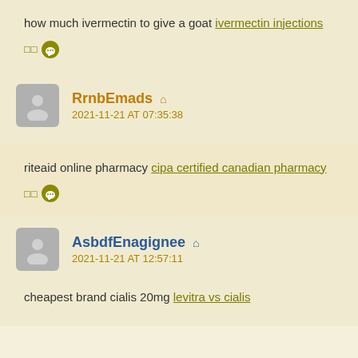how much ivermectin to give a goat ivermectin injections
□□ 💬
RrnbEmads 🏠 2021-11-21 AT 07:35:38
riteaid online pharmacy cipa certified canadian pharmacy
□□ 💬
AsbdfEnagignee 🏠 2021-11-21 AT 12:57:11
cheapest brand cialis 20mg levitra vs cialis